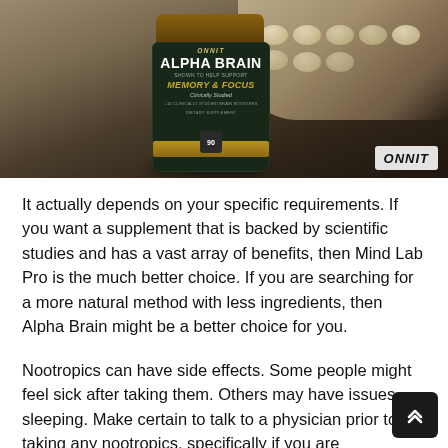[Figure (photo): Photo of Onnit Alpha Brain supplement bottle (Memory & Focus, Clinically Studied, Dietary Supplement) on a dark wooden surface, with blister pill packs in the background. Onnit logo watermark in bottom right corner.]
It actually depends on your specific requirements. If you want a supplement that is backed by scientific studies and has a vast array of benefits, then Mind Lab Pro is the much better choice. If you are searching for a more natural method with less ingredients, then Alpha Brain might be a better choice for you.
Nootropics can have side effects. Some people might feel sick after taking them. Others may have issues sleeping. Make certain to talk to a physician prior to taking any nootropics, specifically if you are